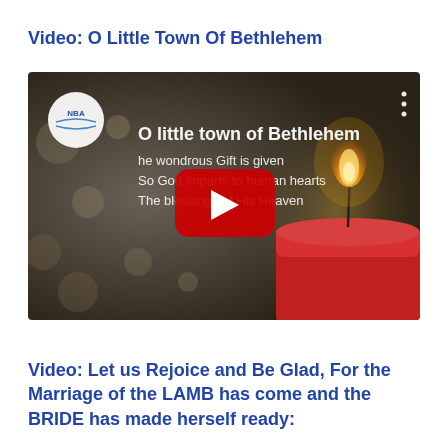Video: O Little Town Of Bethlehem
[Figure (screenshot): YouTube video thumbnail showing a red candle with flame against a dark bokeh background. Overlaid text reads: 'O little town of Bethlehem / The wondrous Gift is given / So God imparts to human hearts / The blessings of His Heaven'. A white circular NBA logo is in the top left, and a red YouTube play button is centered. Three-dot menu icon in top right.]
Video: Let us Rejoice and Be Glad, For the Marriage of the LAMB has come and the BRIDE has made herself ready: